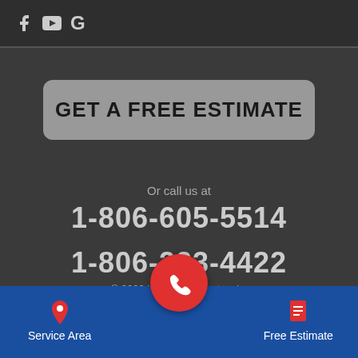[Figure (other): Social media icons: Facebook (f), YouTube (play button), Google (G) on dark bar]
GET A FREE ESTIMATE
Or call us at
1-806-605-5514
1-806-223-4422
© 2022 Legacy Supportworks
[Figure (other): Bottom navigation bar with Service Area (map pin icon), phone call FAB button (red circle with phone icon), and Free Estimate (document icon)]
Service Area
Free Estimate